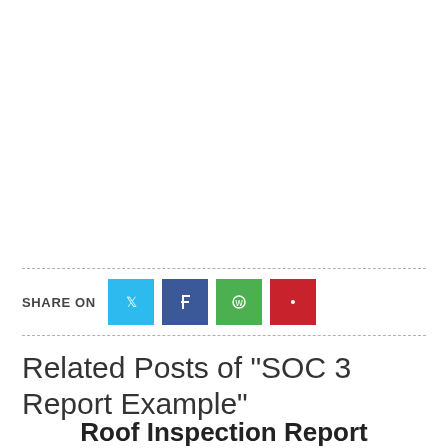SHARE ON
Related Posts of "SOC 3 Report Example"
Roof Inspection Report